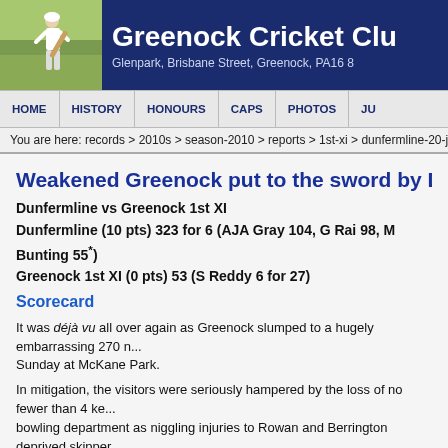[Figure (photo): Cricket batsman photo on green grass background, part of Greenock Cricket Club website header]
Greenock Cricket Club — Glenpark, Brisbane Street, Greenock, PA16 8...
HOME | HISTORY | HONOURS | CAPS | PHOTOS | JU...
You are here: records > 2010s > season-2010 > reports > 1st-xi > dunfermline-20-j...
Weakened Greenock put to the sword by Dunfermli...
Dunfermline vs Greenock 1st XI
Dunfermline (10 pts) 323 for 6 (AJA Gray 104, G Rai 98, M Bunting 55*)
Greenock 1st XI (0 pts) 53 (S Reddy 6 for 27)
Scorecard
It was déjà vu all over again as Greenock slumped to a hugely embarrassing 270 n... Sunday at McKane Park.
In mitigation, the visitors were seriously hampered by the loss of no fewer than 4 ke... bowling department as niggling injuries to Rowan and Berrington deprived skipper... opening attack at the request of the Cricket Scotland hierarchy. With bowler of the s... and opening batsman Prabhu out with a broken finger just when you thought it cou... Law kicked in and dealt another couple of fatal blows to the already beleaguered re...